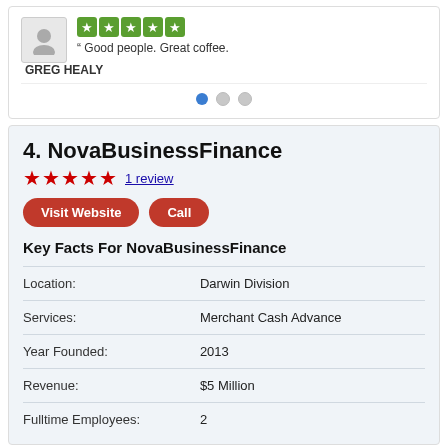[Figure (other): User avatar placeholder icon (grey person silhouette)]
Good people. Great coffee.
GREG HEALY
4. NovaBusinessFinance
1 review
Visit Website   Call
Key Facts For NovaBusinessFinance
| Location: | Darwin Division |
| Services: | Merchant Cash Advance |
| Year Founded: | 2013 |
| Revenue: | $5 Million |
| Fulltime Employees: | 2 |